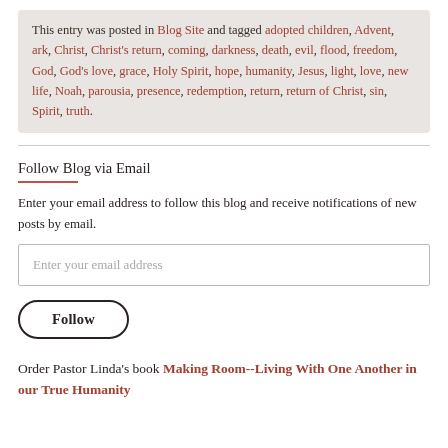This entry was posted in Blog Site and tagged adopted children, Advent, ark, Christ, Christ's return, coming, darkness, death, evil, flood, freedom, God, God's love, grace, Holy Spirit, hope, humanity, Jesus, light, love, new life, Noah, parousia, presence, redemption, return, return of Christ, sin, Spirit, truth.
Follow Blog via Email
Enter your email address to follow this blog and receive notifications of new posts by email.
Enter your email address
Follow
Order Pastor Linda's book Making Room--Living With One Another in our True Humanity